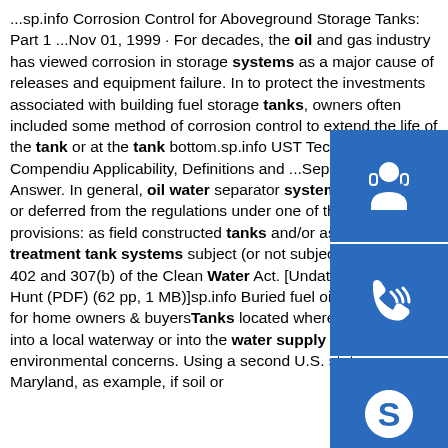...sp.info Corrosion Control for Aboveground Storage Tanks: Part 1 ...Nov 01, 1999 · For decades, the oil and gas industry has viewed corrosion in storage systems as a major cause of releases and equipment failure. In to protect the investments associated with building fuel storage tanks, owners often included some method of corrosion control to extend the life of the tank or at the tank bottom.sp.info UST Technical Compendium Applicability, Definitions and ...Sep 17, 2020 · Answer. In general, oil water separator systems are either ex or deferred from the regulations under one of the fo provisions: as field constructed tanks and/or as wa water treatment tank systems subject (or not subject) to section 402 and 307(b) of the Clean Water Act. [Undated letter to Mr. Hunt (PDF) (62 pp, 1 MB)]sp.info Buried fuel oil tanks: advice for home owners & buyersTanks located where they may leak into a local waterway or into the water supply are a special environmental concerns. Using a second U.S. state, Maryland, as example, if soil or
[Figure (infographic): Three blue square icons arranged vertically on the right side: headset/customer support icon, phone/call icon, and Skype icon]